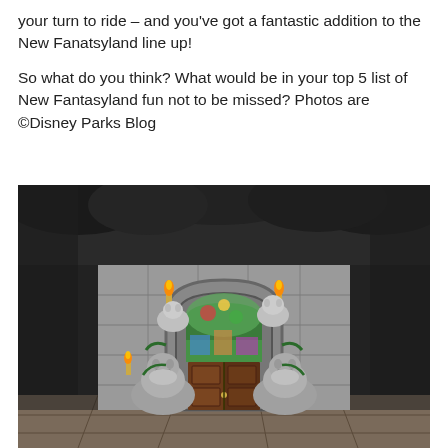your turn to ride – and you've got a fantastic addition to the New Fanatsyland line up!
So what do you think? What would be in your top 5 list of New Fantasyland fun not to be missed? Photos are ©Disney Parks Blog
[Figure (photo): Concept art or rendered image of a castle entrance with ornate stone archway, colorful stained glass window above wooden double doors, gargoyle/beast statues flanking the entrance, lit torches, set against dark rocky cave-like surroundings with stone floor in foreground — associated with New Fantasyland Beast's Castle attraction at Disney.]